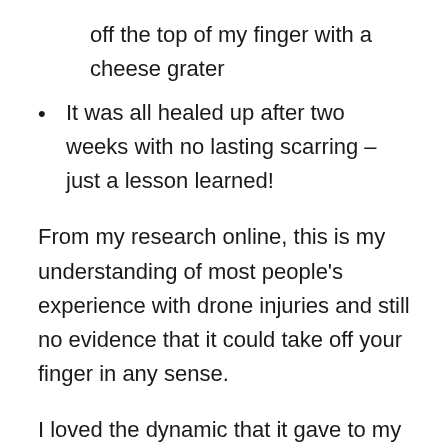off the top of my finger with a cheese grater
It was all healed up after two weeks with no lasting scarring – just a lesson learned!
From my research online, this is my understanding of most people's experience with drone injuries and still no evidence that it could take off your finger in any sense.
I loved the dynamic that it gave to my